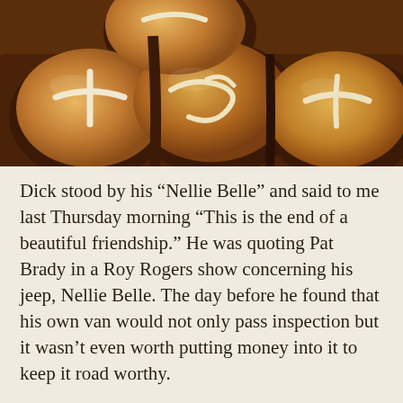[Figure (photo): Close-up photo of glazed pastries or cinnamon rolls in dark baking cups, with white icing drizzled on top, warm golden-brown tones.]
Dick stood by his “Nellie Belle” and said to me last Thursday morning “This is the end of a beautiful friendship.” He was quoting Pat Brady in a Roy Rogers show concerning his jeep, Nellie Belle. The day before he found that his own van would not only pass inspection but it wasn’t even worth putting money into it to keep it road worthy.
By the time I got home from the bookstore he had unloaded all his tools, taken out his shelving units, removed the homemade racks on top, and had it parked stately in the